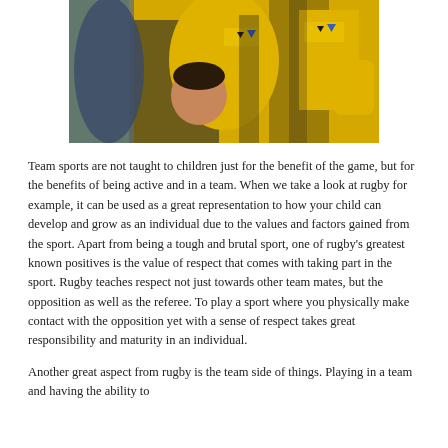[Figure (photo): Rugby players in yellow and black jerseys with 'dimension data' sponsor logos, engaged in a scrum or tackle during a match.]
Team sports are not taught to children just for the benefit of the game, but for the benefits of being active and in a team. When we take a look at rugby for example, it can be used as a great representation to how your child can develop and grow as an individual due to the values and factors gained from the sport. Apart from being a tough and brutal sport, one of rugby's greatest known positives is the value of respect that comes with taking part in the sport. Rugby teaches respect not just towards other team mates, but the opposition as well as the referee. To play a sport where you physically make contact with the opposition yet with a sense of respect takes great responsibility and maturity in an individual.
Another great aspect from rugby is the team side of things. Playing in a team and having the ability to...